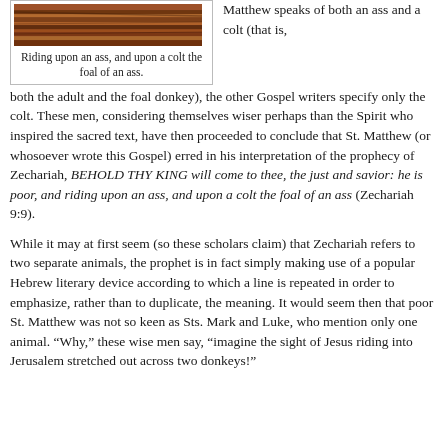[Figure (photo): A photo of wooden/rocky earth-tone striped surface, likely depicting donkeys or terrain]
Riding upon an ass, and upon a colt the foal of an ass.
Matthew speaks of both an ass and a colt (that is, both the adult and the foal donkey), the other Gospel writers specify only the colt. These men, considering themselves wiser perhaps than the Spirit who inspired the sacred text, have then proceeded to conclude that St. Matthew (or whosoever wrote this Gospel) erred in his interpretation of the prophecy of Zechariah, BEHOLD THY KING will come to thee, the just and savior: he is poor, and riding upon an ass, and upon a colt the foal of an ass (Zechariah 9:9).
While it may at first seem (so these scholars claim) that Zechariah refers to two separate animals, the prophet is in fact simply making use of a popular Hebrew literary device according to which a line is repeated in order to emphasize, rather than to duplicate, the meaning. It would seem then that poor St. Matthew was not so keen as Sts. Mark and Luke, who mention only one animal. “Why,” these wise men say, “imagine the sight of Jesus riding into Jerusalem stretched out across two donkeys!”